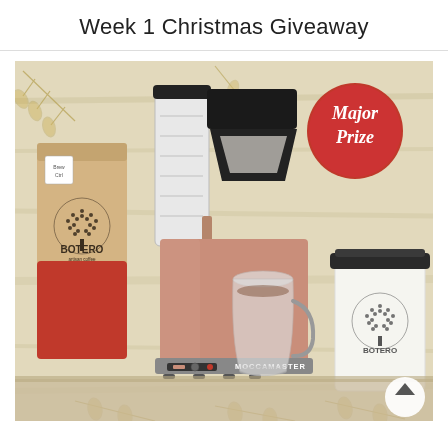Week 1 Christmas Giveaway
[Figure (photo): Promotional photo showing a Moccamaster coffee maker in rose gold/copper color, a Botero coffee bean bag (kraft/red), and a white Botero canister/container, arranged on a wooden surface with golden botanical leaf decorations. A red circular badge reads 'Major Prize' in white script. A scroll-to-top arrow button appears in the bottom right corner.]